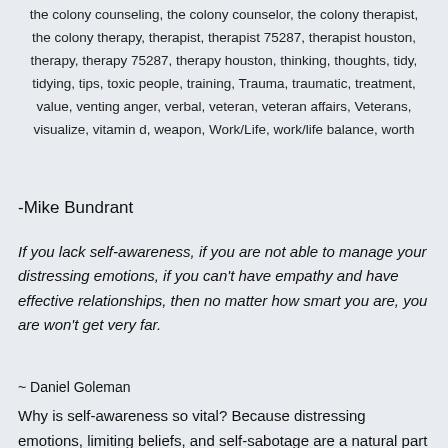the colony counseling, the colony counselor, the colony therapist, the colony therapy, therapist, therapist 75287, therapist houston, therapy, therapy 75287, therapy houston, thinking, thoughts, tidy, tidying, tips, toxic people, training, Trauma, traumatic, treatment, value, venting anger, verbal, veteran, veteran affairs, Veterans, visualize, vitamin d, weapon, Work/Life, work/life balance, worth
-Mike Bundrant
If you lack self-awareness, if you are not able to manage your distressing emotions, if you can't have empathy and have effective relationships, then no matter how smart you are, you are won't get very far.
~ Daniel Goleman
Why is self-awareness so vital? Because distressing emotions, limiting beliefs, and self-sabotage are a natural part of being born and growing up. If you aren't